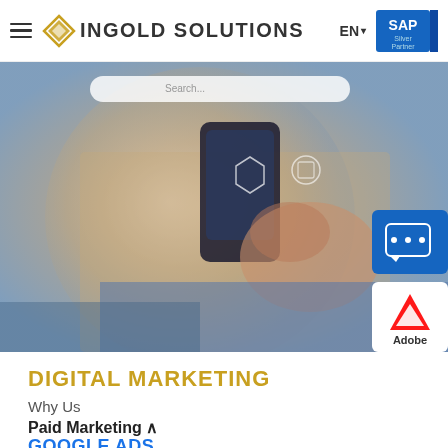≡ INGOLD SOLUTIONS  EN ▾  SAP Silver Partner
[Figure (photo): Hero image showing a person holding a smartphone with digital interface icons overlaid, with an SAP chat support overlay and Adobe logo overlay on the right side.]
DIGITAL MARKETING
Why Us
Paid Marketing ^
GOOGLE ADS